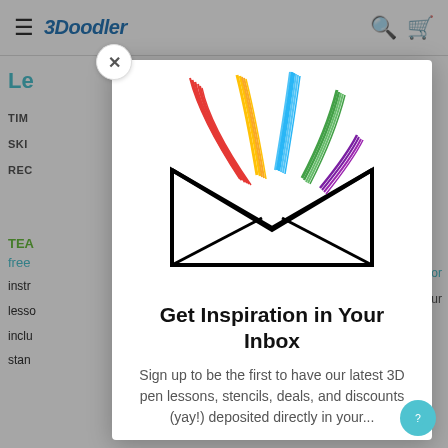3Doodler
Le...
TIM...
SKI...
REC...
TEA... for free...
instr... ur
lesso...
inclu...
stan...
[Figure (illustration): 3D pen art of a white envelope with colorful strands (red, yellow/orange, blue, green, purple) bursting out from the top, all made with a 3D pen on black outline envelope]
Get Inspiration in Your Inbox
Sign up to be the first to have our latest 3D pen lessons, stencils, deals, and discounts (yay!) deposited directly in your...